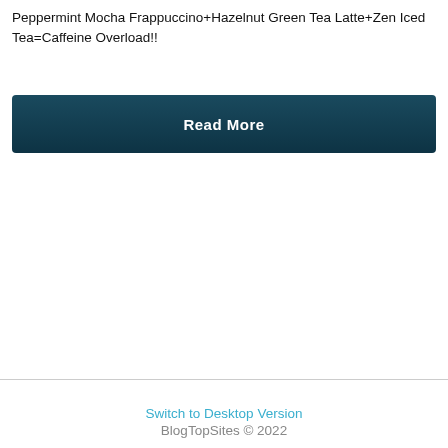Peppermint Mocha Frappuccino+Hazelnut Green Tea Latte+Zen Iced Tea=Caffeine Overload!!
Read More
Switch to Desktop Version
BlogTopSites © 2022